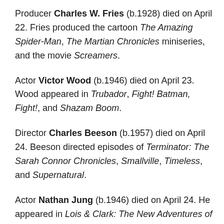Producer Charles W. Fries (b.1928) died on April 22. Fries produced the cartoon The Amazing Spider-Man, The Martian Chronicles miniseries, and the movie Screamers.
Actor Victor Wood (b.1946) died on April 23. Wood appeared in Trubador, Fight! Batman, Fight!, and Shazam Boom.
Director Charles Beeson (b.1957) died on April 24. Beeson directed episodes of Terminator: The Sarah Connor Chronicles, Smallville, Timeless, and Supernatural.
Actor Nathan Jung (b.1946) died on April 24. He appeared in Lois & Clark: The New Adventures of Superman, Big Trouble in Little China, The Amazing